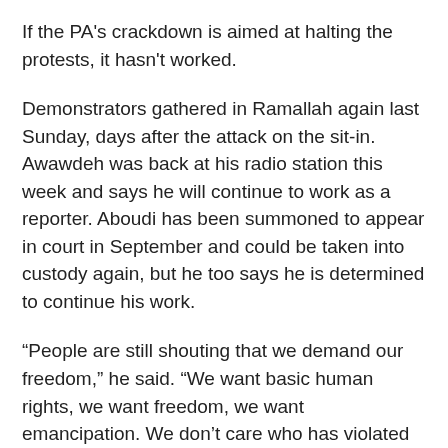If the PA's crackdown is aimed at halting the protests, it hasn't worked.
Demonstrators gathered in Ramallah again last Sunday, days after the attack on the sit-in. Awawdeh was back at his radio station this week and says he will continue to work as a reporter. Aboudi has been summoned to appear in court in September and could be taken into custody again, but he too says he is determined to continue his work.
“People are still shouting that we demand our freedom,” he said. “We want basic human rights, we want freedom, we want emancipation. We don’t care who has violated our rights, but these kinds of violations we will not tolerate.”